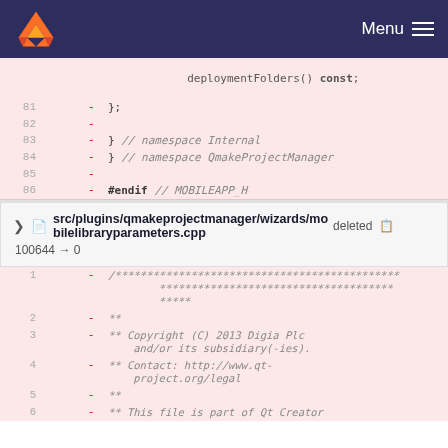Menu
[Figure (screenshot): GitLab diff view showing deleted lines 81-86 of a C++ header file, followed by a file header for src/plugins/qmakeprojectmanager/wizards/mobilelibraryparameters.cpp deleted (100644 → 0), and lines 1-6 of that file's content.]
deploymentFolders() const;
- };
-
- } // namespace Internal
- } // namespace QmakeProjectManager
-
- #endif // MOBILEAPP_H
src/plugins/qmakeprojectmanager/wizards/mobilelibraryparameters.cpp deleted 100644 → 0
- /***********************************************************************
**
** Copyright (C) 2013 Digia Plc and/or its subsidiary(-ies).
** Contact: http://www.qt-project.org/legal
** 
** ** This file is part of Qt Creator